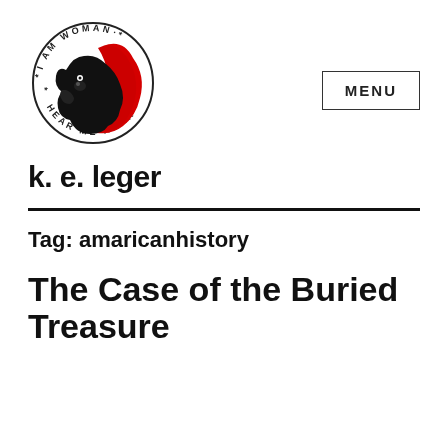[Figure (logo): Circular logo with a lion silhouette in black and red, text around the circle reads 'I AM WOMAN * HEAR ME ROAR *']
k. e. leger
Tag: amaricanhistory
The Case of the Buried Treasure